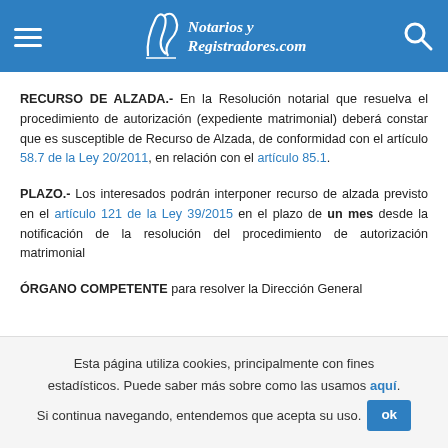Notarios y Registradores.com
RECURSO DE ALZADA.- En la Resolución notarial que resuelva el procedimiento de autorización (expediente matrimonial) deberá constar que es susceptible de Recurso de Alzada, de conformidad con el artículo 58.7 de la Ley 20/2011, en relación con el artículo 85.1.
PLAZO.- Los interesados podrán interponer recurso de alzada previsto en el artículo 121 de la Ley 39/2015 en el plazo de un mes desde la notificación de la resolución del procedimiento de autorización matrimonial
ÓRGANO COMPETENTE para resolver la Dirección General
Esta página utiliza cookies, principalmente con fines estadísticos. Puede saber más sobre como las usamos aquí. Si continua navegando, entendemos que acepta su uso.